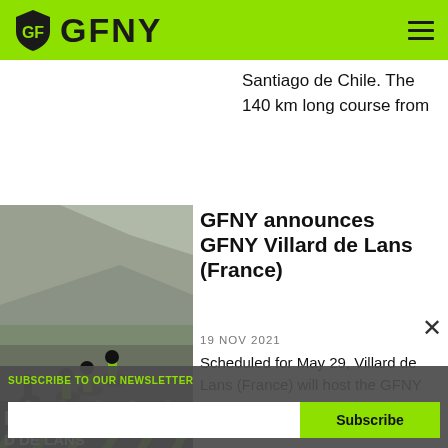GFNY
Santiago de Chile. The 140 km long course from
[Figure (photo): Cyclists in green GFNY jerseys riding on a mountain road]
GFNY announces GFNY Villard de Lans (France)
19 NOV 2021
Scheduled for May 29, Villard de Lans (France) will host the GFNY European
SUBSCRIBE TO OUR NEWSLETTER
Subscribe